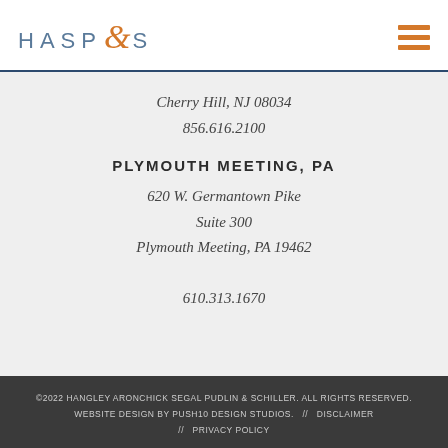[Figure (logo): HASP&S law firm logo with stylized ampersand in orange and text in blue-grey]
Cherry Hill, NJ 08034
856.616.2100
PLYMOUTH MEETING, PA
620 W. Germantown Pike
Suite 300
Plymouth Meeting, PA 19462
610.313.1670
©2022 HANGLEY ARONCHICK SEGAL PUDLIN & SCHILLER. ALL RIGHTS RESERVED. WEBSITE DESIGN BY PUSH10 DESIGN STUDIOS. // DISCLAIMER // PRIVACY POLICY